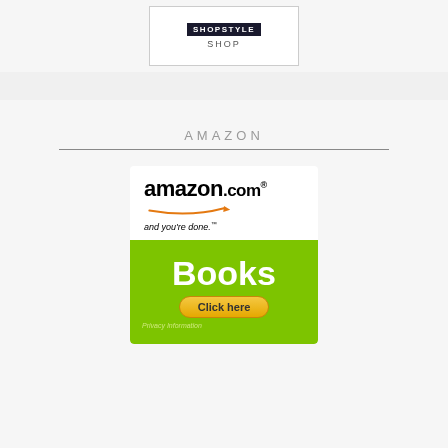[Figure (logo): ShopStyle shop banner with logo and SHOP text in a white bordered box]
AMAZON
[Figure (illustration): Amazon.com Books advertisement banner with green background, Books text, and Click here button with Privacy Information link]